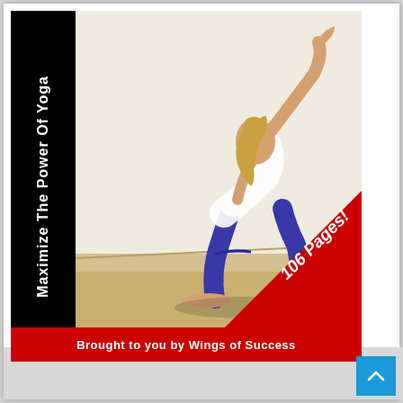[Figure (photo): Book cover for 'Maximize The Power Of Yoga' showing a woman in blue yoga pants and white top performing a low lunge side stretch pose on a wooden floor. The cover has a black vertical bar on the left with the title text rotated vertically, a red diagonal ribbon in the bottom-right corner with '106 Pages!' text, and a red bottom bar reading 'Brought to you by Wings of Success'.]